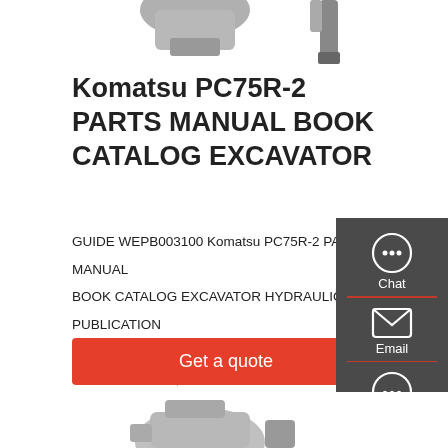[Figure (photo): Top partial image of excavator parts (cropped at top of page)]
Komatsu PC75R-2 PARTS MANUAL BOOK CATALOG EXCAVATOR
GUIDE WEPB003100 Komatsu PC75R-2 PARTS MANUAL BOOK CATALOG EXCAVATOR HYDRAULIC, PUBLICATION NUMBER: WEPB003100, PRINTED FEBRUARY 2000 PARTS MANUAL,THIS MANUAL IS IN GREAT CONDITION, COVER AND EDGES VERY SLIGHTLY SOILED, INSIDE IS VERY CLEAN, ABOUT 200 PAGES, Original + FREE Delivery,Great selection at …
[Figure (infographic): Right-side floating contact panel with Chat, Email, and Contact icons on dark gray background]
[Figure (other): Get a quote red button]
[Figure (photo): Bottom partial image of excavator parts (cropped at bottom of page)]